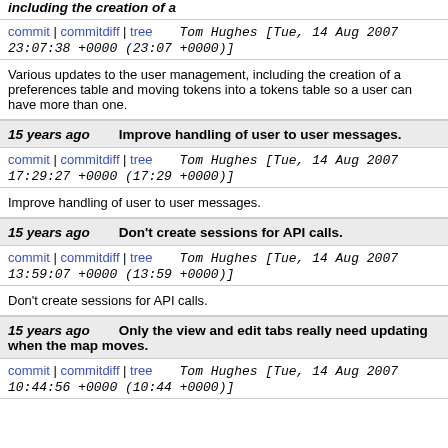including the creation of a
commit | commitdiff | tree   Tom Hughes [Tue, 14 Aug 2007 23:07:38 +0000 (23:07 +0000)]
Various updates to the user management, including the creation of a preferences table and moving tokens into a tokens table so a user can have more than one.
15 years ago   Improve handling of user to user messages.
commit | commitdiff | tree   Tom Hughes [Tue, 14 Aug 2007 17:29:27 +0000 (17:29 +0000)]
Improve handling of user to user messages.
15 years ago   Don't create sessions for API calls.
commit | commitdiff | tree   Tom Hughes [Tue, 14 Aug 2007 13:59:07 +0000 (13:59 +0000)]
Don't create sessions for API calls.
15 years ago   Only the view and edit tabs really need updating when the map moves.
commit | commitdiff | tree   Tom Hughes [Tue, 14 Aug 2007 10:44:56 +0000 (10:44 +0000)]